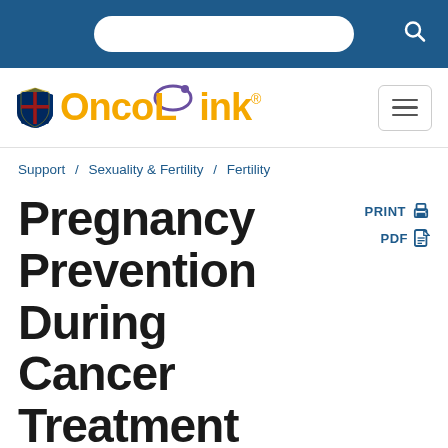[Figure (logo): OncoLink website header with dark blue navigation bar containing a white search box and search icon]
[Figure (logo): OncoLink logo with Penn shield and yellow OncoLink text with purple swoosh, and hamburger menu button]
Support / Sexuality & Fertility / Fertility
Pregnancy Prevention During Cancer Treatment
PRINT  PDF
Author: OncoLink Team
Read more about our content writing process